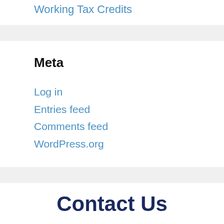Working Tax Credits
Meta
Log in
Entries feed
Comments feed
WordPress.org
Contact Us